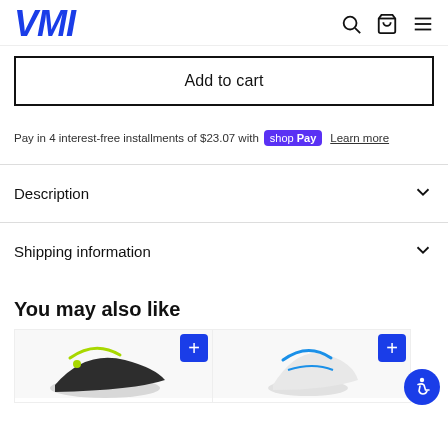VMI
Add to cart
Pay in 4 interest-free installments of $23.07 with Shop Pay  Learn more
Description
Shipping information
You may also like
[Figure (photo): Product thumbnail images in a 'You may also like' carousel row, two product cards visible with blue plus buttons]